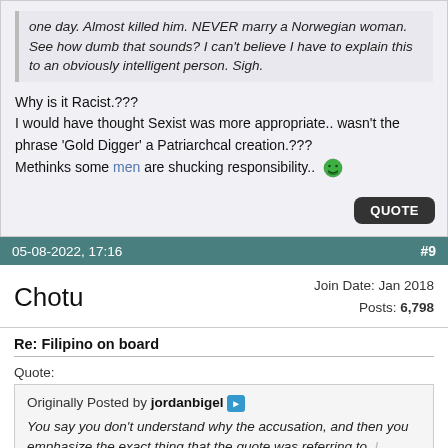one day. Almost killed him. NEVER marry a Norwegian woman. See how dumb that sounds? I can't believe I have to explain this to an obviously intelligent person. Sigh.
Why is it Racist.???
I would have thought Sexist was more appropriate.. wasn't the phrase 'Gold Digger' a Patriarchcal creation.???
Methinks some men are shucking responsibility.. 😄
05-08-2022, 17:16
#9
Chotu
Join Date: Jan 2018
Posts: 6,798
Re: Filipino on board
Quote:
Originally Posted by jordanbigel
You say you don't understand why the accusation, and then you emphasize the exact thing that the quote was referring to. I believe you, you really don't understand the comment.
I will try and explain it.